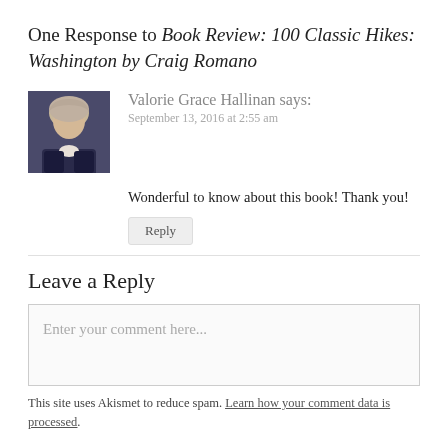One Response to Book Review: 100 Classic Hikes: Washington by Craig Romano
Valorie Grace Hallinan says:
September 13, 2016 at 2:55 am
Wonderful to know about this book! Thank you!
Reply
Leave a Reply
Enter your comment here...
This site uses Akismet to reduce spam. Learn how your comment data is processed.